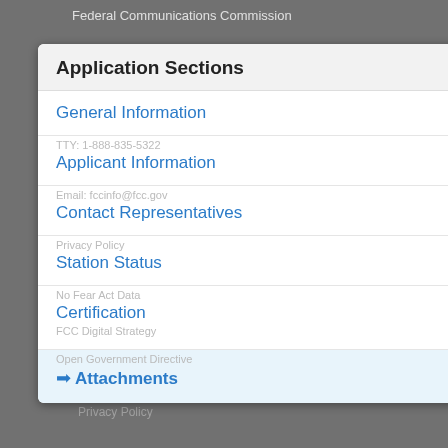Federal Communications Commission
Application Sections
General Information
Applicant Information
Contact Representatives
Station Status
Certification
➜ Attachments
RSS Feeds & Email Updates
Accessibility
About the FCC
Proceedings & Actions
Licensing & Databases
Reports & Research
News & Events
For Consumers
Consumer
Enforcement